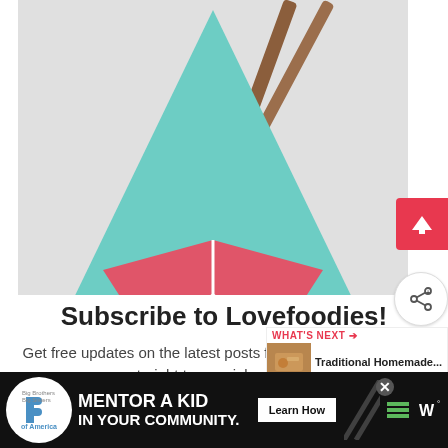[Figure (illustration): Stylized takeout food box illustration with teal/mint triangular lid and chopsticks sticking out, red geometric box base, on a light gray background]
Subscribe to Lovefoodies!
Get free updates on the latest posts from Lovefoodies straight to your inbox.
[Figure (infographic): WHAT'S NEXT panel with food photo thumbnail and text: Traditional Homemade...]
[Figure (infographic): Advertisement bar: Big Brothers Big Sisters logo, MENTOR A KID IN YOUR COMMUNITY., Learn How button, decorative diagonal lines, hamburger menu icon, W degree symbol]